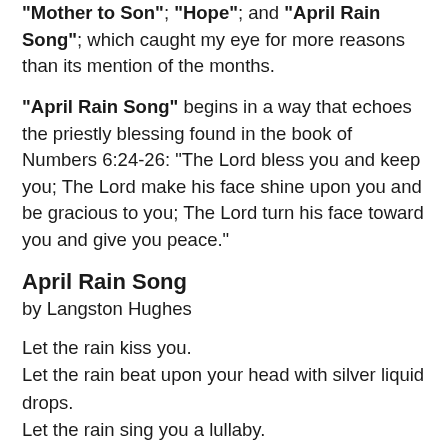“Mother to Son”; “Hope”; and “April Rain Song”; which caught my eye for more reasons than its mention of the months.
"April Rain Song" begins in a way that echoes the priestly blessing found in the book of Numbers 6:24-26: "The Lord bless you and keep you; The Lord make his face shine upon you and be gracious to you; The Lord turn his face toward you and give you peace."
April Rain Song
by Langston Hughes
Let the rain kiss you.
Let the rain beat upon your head with silver liquid drops.
Let the rain sing you a lullaby.
The rain makes still pools on the sidewalk.
The rain makes running pools in the gutter.
The rain plays a little sleep-song on our roof at